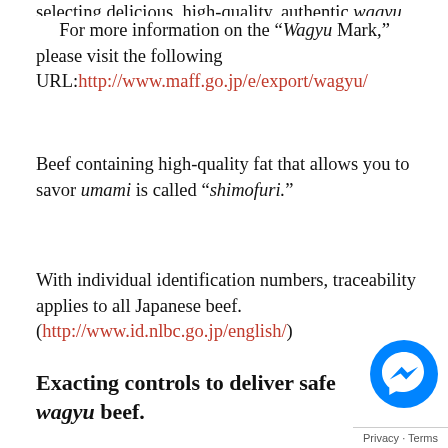selecting delicious, high-quality, authentic wagyu beef
For more information on the “Wagyu Mark,” please visit the following URL: http://www.maff.go.jp/e/export/wagyu/
Beef containing high-quality fat that allows you to savor umami is called “shimofuri.”
With individual identification numbers, traceability applies to all Japanese beef. (http://www.id.nlbc.go.jp/english/)
Exacting controls to deliver safe wagyu beef.